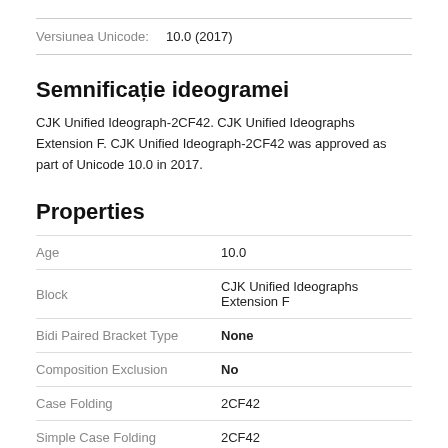Versiunea Unicode:   10.0 (2017)
Semnificație ideogramei
CJK Unified Ideograph-2CF42. CJK Unified Ideographs Extension F. CJK Unified Ideograph-2CF42 was approved as part of Unicode 10.0 in 2017.
Properties
| Property | Value |
| --- | --- |
| Age | 10.0 |
| Block | CJK Unified Ideographs Extension F |
| Bidi Paired Bracket Type | None |
| Composition Exclusion | No |
| Case Folding | 2CF42 |
| Simple Case Folding | 2CF42 |